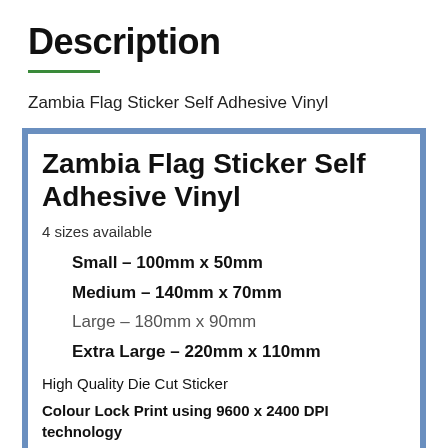Description
Zambia Flag Sticker Self Adhesive Vinyl
[Figure (other): Blue-bordered product information box containing product title 'Zambia Flag Sticker Self Adhesive Vinyl', size options (Small 100mm x 50mm, Medium 140mm x 70mm, Large 180mm x 90mm, Extra Large 220mm x 110mm), and feature text about High Quality Die Cut Sticker and Colour Lock Print using 9600 x 2400 DPI technology]